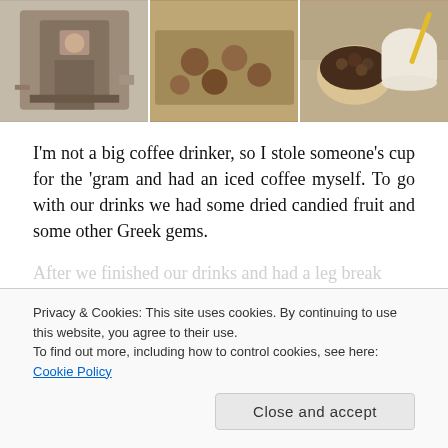[Figure (photo): Three photos side by side: left shows a person operating a large coffee roasting machine in a shop, center shows small round chocolates or candied items on a wooden tray, right shows bowls of dark berries/chocolates and a cup of coffee on a decorative surface.]
I'm not a big coffee drinker, so I stole someone's cup for the 'gram and had an iced coffee myself. To go with our drinks we had some dried candied fruit and some other Greek gems.
After we finished our drinks and had a leg break
Privacy & Cookies: This site uses cookies. By continuing to use this website, you agree to their use.
To find out more, including how to control cookies, see here: Cookie Policy
Close and accept